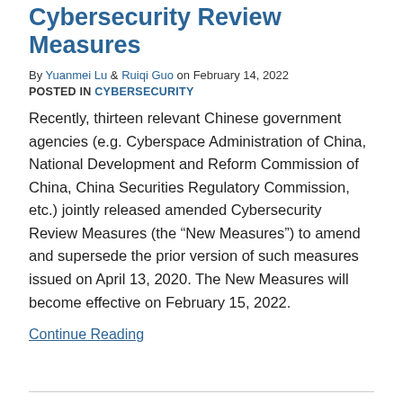Cybersecurity Review Measures
By Yuanmei Lu & Ruiqi Guo on February 14, 2022
POSTED IN CYBERSECURITY
Recently, thirteen relevant Chinese government agencies (e.g. Cyberspace Administration of China, National Development and Reform Commission of China, China Securities Regulatory Commission, etc.) jointly released amended Cybersecurity Review Measures (the “New Measures”) to amend and supersede the prior version of such measures issued on April 13, 2020. The New Measures will become effective on February 15, 2022.
Continue Reading